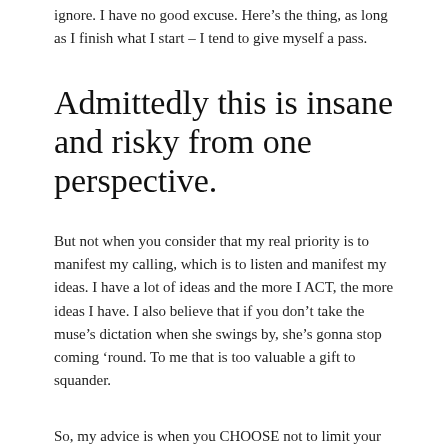ignore. I have no good excuse. Here's the thing, as long as I finish what I start – I tend to give myself a pass.
Admittedly this is insane and risky from one perspective.
But not when you consider that my real priority is to manifest my calling, which is to listen and manifest my ideas. I have a lot of ideas and the more I ACT, the more ideas I have. I also believe that if you don't take the muse's dictation when she swings by, she's gonna stop coming 'round. To me that is too valuable a gift to squander.
So, my advice is when you CHOOSE not to limit your